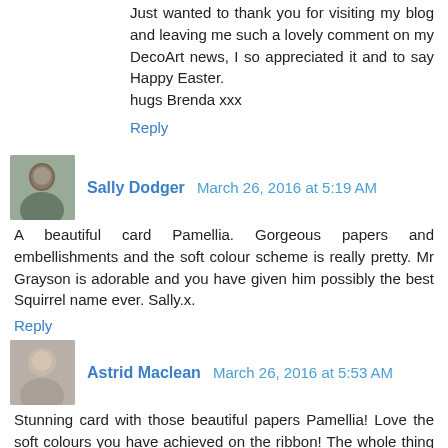Just wanted to thank you for visiting my blog and leaving me such a lovely comment on my DecoArt news, I so appreciated it and to say Happy Easter.
hugs Brenda xxx
Reply
Sally Dodger  March 26, 2016 at 5:19 AM
A beautiful card Pamellia. Gorgeous papers and embellishments and the soft colour scheme is really pretty. Mr Grayson is adorable and you have given him possibly the best Squirrel name ever. Sally.x.
Reply
Astrid Maclean  March 26, 2016 at 5:53 AM
Stunning card with those beautiful papers Pamellia! Love the soft colours you have achieved on the ribbon! The whole thing is so pretty and feminine!! Spring in the middle of more winter... :o(
Reply